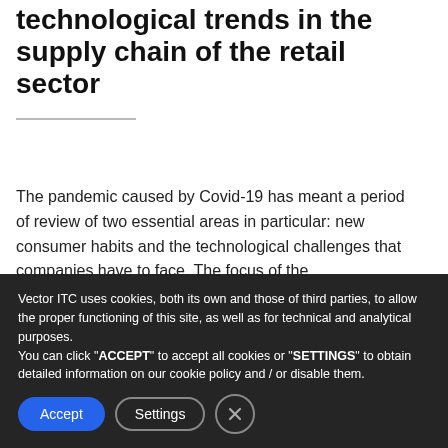technological trends in the supply chain of the retail sector
The pandemic caused by Covid-19 has meant a period of review of two essential areas in particular: new consumer habits and the technological challenges that companies have to face. The focus of the
Vector ITC uses cookies, both its own and those of third parties, to allow the proper functioning of this site, as well as for technical and analytical purposes.
You can click "ACCEPT" to accept all cookies or "SETTINGS" to obtain detailed information on our cookie policy and / or disable them.